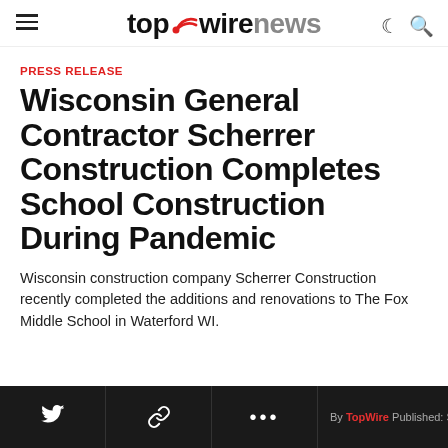top wire news
PRESS RELEASE
Wisconsin General Contractor Scherrer Construction Completes School Construction During Pandemic
Wisconsin construction company Scherrer Construction recently completed the additions and renovations to The Fox Middle School in Waterford WI.
By TopWire Published: September 21, 2020